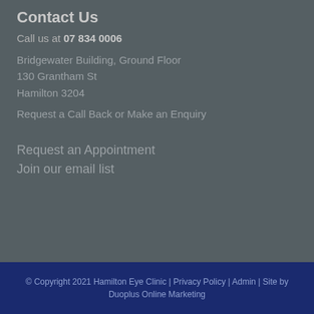Contact Us
Call us at 07 834 0006
Bridgewater Building, Ground Floor
130 Grantham St
Hamilton 3204
Request a Call Back or Make an Enquiry
Request an Appointment
Join our email list
© Copyright 2021 Hamilton Eye Clinic | Privacy Policy | Admin | Site by Duoplus Online Marketing